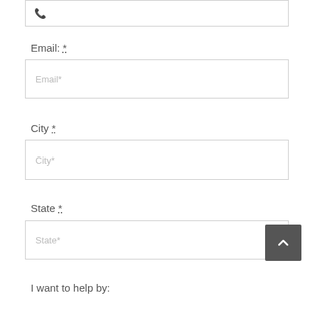[Figure (other): Phone input field with phone icon, partially visible at top]
Email: *
[Figure (other): Email text input field with placeholder 'Email*']
City *
[Figure (other): City text input field with placeholder 'City*']
State *
[Figure (other): State text input field with placeholder 'State*']
I want to help by: